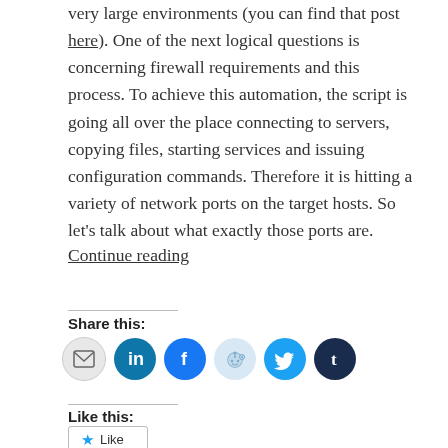very large environments (you can find that post here). One of the next logical questions is concerning firewall requirements and this process. To achieve this automation, the script is going all over the place connecting to servers, copying files, starting services and issuing configuration commands. Therefore it is hitting a variety of network ports on the target hosts. So let's talk about what exactly those ports are.
Continue reading
Share this:
[Figure (infographic): Row of six social media share icon buttons: email (grey), LinkedIn (blue), Facebook (blue), Reddit (light blue), Twitter (cyan), Tumblr (dark navy)]
Like this:
[Figure (infographic): Like button with blue star icon and 'Like' text]
Be the first to like this.